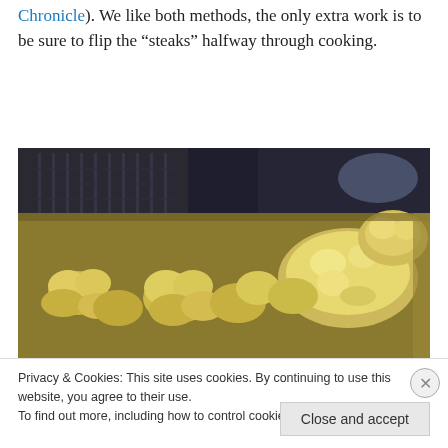Chronicle). We like both methods, the only extra work is to be sure to flip the "steaks" halfway through cooking.
[Figure (photo): Close-up photo of cauliflower florets and cauliflower steaks roasting on a baking sheet in an oven. The florets are golden-yellow and the oven racks and interior are visible in the background.]
Privacy & Cookies: This site uses cookies. By continuing to use this website, you agree to their use.
To find out more, including how to control cookies, see here: Cookie Policy